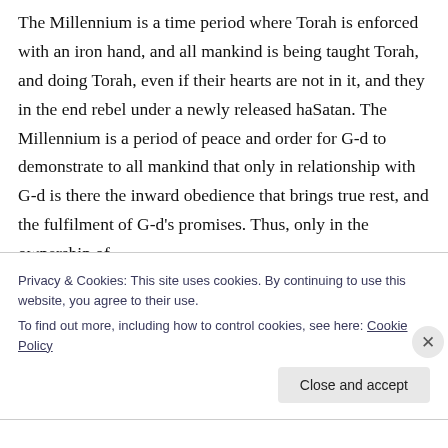The Millennium is a time period where Torah is enforced with an iron hand, and all mankind is being taught Torah, and doing Torah, even if their hearts are not in it, and they in the end rebel under a newly released haSatan. The Millennium is a period of peace and order for G-d to demonstrate to all mankind that only in relationship with G-d is there the inward obedience that brings true rest, and the fulfilment of G-d's promises. Thus, only in the ownership of
Privacy & Cookies: This site uses cookies. By continuing to use this website, you agree to their use.
To find out more, including how to control cookies, see here: Cookie Policy